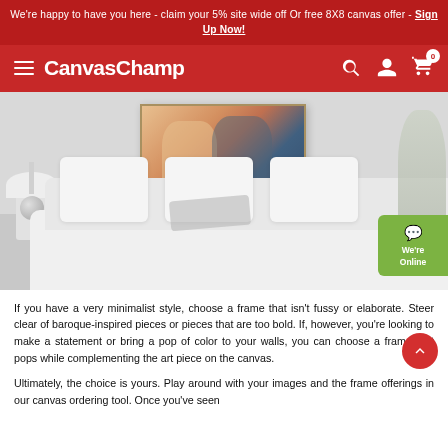We're happy to have you here - claim your 5% site wide off Or free 8X8 canvas offer - Sign Up Now!
CanvasChamp
[Figure (photo): A lifestyle photo showing a canvas print of a couple on a wall above a white sofa in a living room setting. A green 'We're Online' chat button is visible in the lower right.]
If you have a very minimalist style, choose a frame that isn't fussy or elaborate. Steer clear of baroque-inspired pieces or pieces that are too bold. If, however, you're looking to make a statement or bring a pop of color to your walls, you can choose a frame that pops while complementing the art piece on the canvas.
Ultimately, the choice is yours. Play around with your images and the frame offerings in our canvas ordering tool. Once you've seen